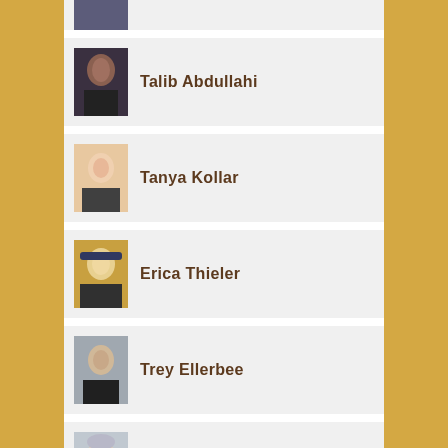[Figure (photo): Partial person card at top, photo only partially visible]
Talib Abdullahi
Tanya Kollar
Erica Thieler
Trey Ellerbee
Victoria Lively
Matt Ziegler